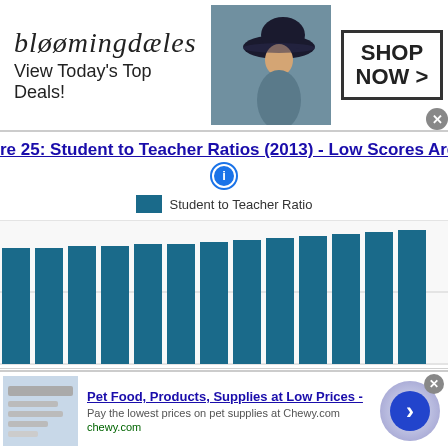[Figure (advertisement): Bloomingdales banner ad: 'View Today's Top Deals!' with woman in hat and 'SHOP NOW >' button]
re 25: Student to Teacher Ratios (2013) - Low Scores Are Be...
[Figure (bar-chart): Horizontal bar chart showing Student to Teacher Ratios for multiple entities, bars in teal/dark blue color. Chart is partially visible, showing approximately 13 bars of similar heights.]
[Figure (advertisement): Chewy.com ad: 'Pet Food, Products, Supplies at Low Prices - Pay the lowest prices on pet supplies at Chewy.com']